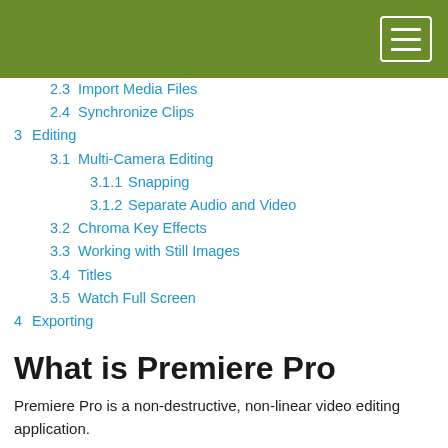2.3  Import Media Files
2.4  Synchronize Clips
3  Editing
3.1  Multi-Camera Editing
3.1.1  Snapping
3.1.2  Separate Audio and Video
3.2  Chroma Key Effects
3.3  Working with Still Images
3.4  Titles
3.5  Watch Full Screen
4  Exporting
What is Premiere Pro
Premiere Pro is a non-destructive, non-linear video editing application.
The interface is comprised of a series of windows called "panels" that can be modified to create different "work spaces".